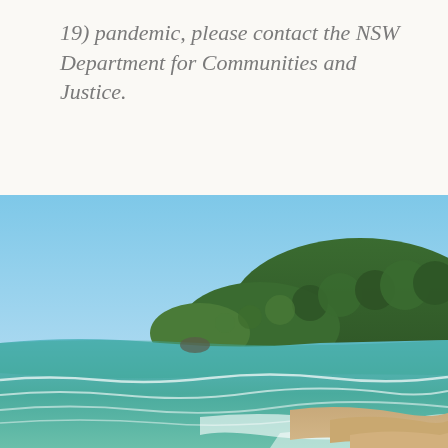19) pandemic, please contact the NSW Department for Communities and Justice.
[Figure (photo): Aerial coastal beach photo showing a curved sandy beach with gentle waves, turquoise-green ocean water, a forested headland/promontory in the background, and a clear blue sky. The scene appears to be a NSW coastal beach.]